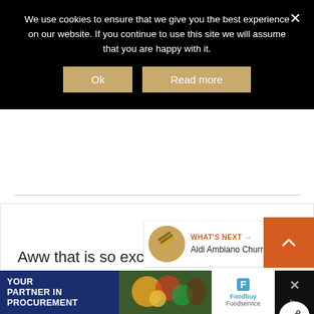We use cookies to ensure that we give you the best experience on our website. If you continue to use this site we will assume that you are happy with it.
Ok  Read more
Aww that is so exciting, but yes, bittersweet too. There are still so many exciting things to come xx
Reply
WHAT'S NEXT → Aldi Ambiano Churro Mak...
[Figure (screenshot): Advertisement banner: YOUR PARTNER IN PROCUREMENT with Foodbuy Foodservice logo]